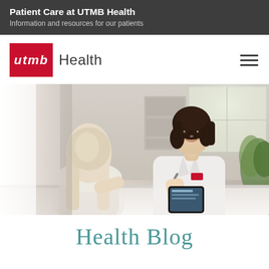Patient Care at UTMB Health
Information and resources for our patients
[Figure (logo): UTMB Health logo with red box containing 'utmb' in italic white text followed by 'Health' in dark gray]
[Figure (photo): A female doctor in white coat with stethoscope holding a tablet, smiling at a patient seated across from her in a clinical setting]
Health Blog